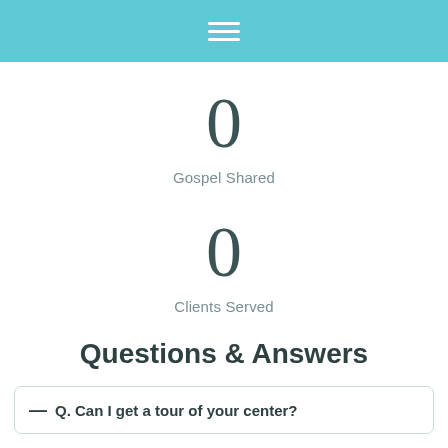Navigation menu
0
Gospel Shared
0
Clients Served
Questions & Answers
– Q. Can I get a tour of your center?